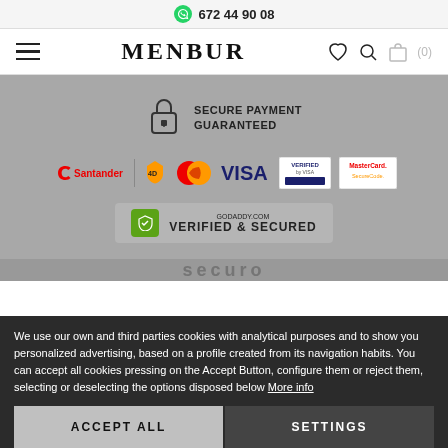672 44 90 08
MENBUR
[Figure (infographic): Secure payment logos: Santander, MasterCard, VISA, Verified by VISA, MasterCard SecureCode, GoDaddy Verified & Secured]
We use our own and third parties cookies with analytical purposes and to show you personalized advertising, based on a profile created from its navigation habits. You can accept all cookies pressing on the Accept Button, configure them or reject them, selecting or deselecting the options disposed below More info
ACCEPT ALL
SETTINGS